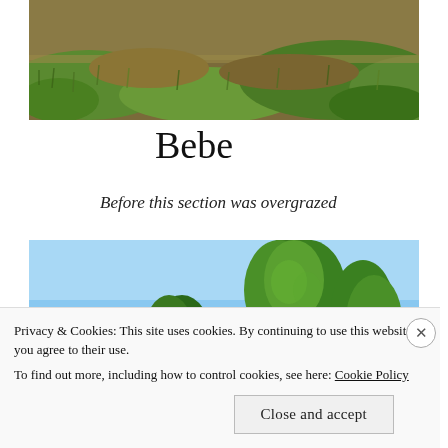[Figure (photo): Grassy hillside or embankment with brown and green grass, viewed from above, top portion cropped.]
Bebe
Before this section was overgrazed
[Figure (photo): Blue sky with tall green trees, primarily showing tree canopy against clear blue sky, outdoor nature photo.]
Privacy & Cookies: This site uses cookies. By continuing to use this website, you agree to their use.
To find out more, including how to control cookies, see here: Cookie Policy
Close and accept